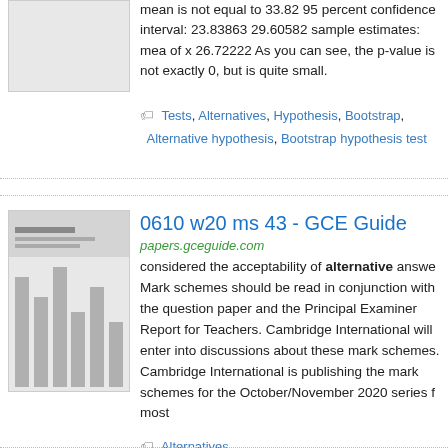mean is not equal to 33.82 95 percent confidence interval: 23.83863 29.60582 sample estimates: mean of x 26.72222 As you can see, the p-value is not exactly 0, but is quite small.
Tests, Alternatives, Hypothesis, Bootstrap, Alternative hypothesis, Bootstrap hypothesis test
0610 w20 ms 43 - GCE Guide
papers.gceguide.com
considered the acceptability of alternative answers. Mark schemes should be read in conjunction with the question paper and the Principal Examiner Report for Teachers. Cambridge International will enter into discussions about these mark schemes. Cambridge International is publishing the mark schemes for the October/November 2020 series for most
Alternatives